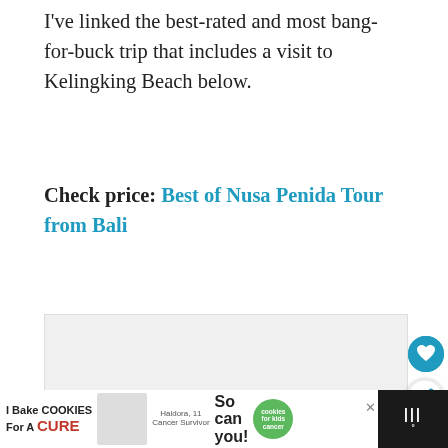I've linked the best-rated and most bang-for-buck trip that includes a visit to Kelingking Beach below.
Check price: Best of Nusa Penida Tour from Bali
[Figure (photo): Image placeholder / photo carousel with navigation dots, showing a light gray empty image box with three navigation dots below it.]
[Figure (other): Advertisement banner: 'I Bake COOKIES For A CURE - Haldora, 11 Cancer Survivor - So can you! - cookies for kids cancer' with a green badge and close button. Milkbar logo on the right.]